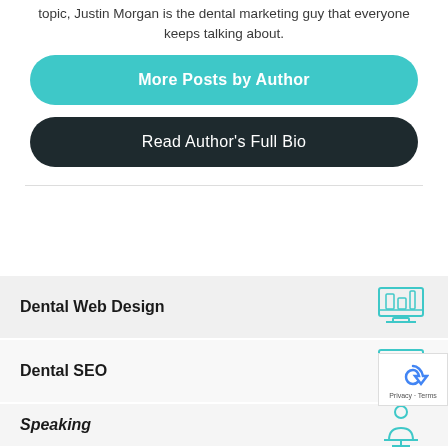topic, Justin Morgan is the dental marketing guy that everyone keeps talking about.
More Posts by Author
Read Author's Full Bio
Dental Web Design
Dental SEO
Speaking